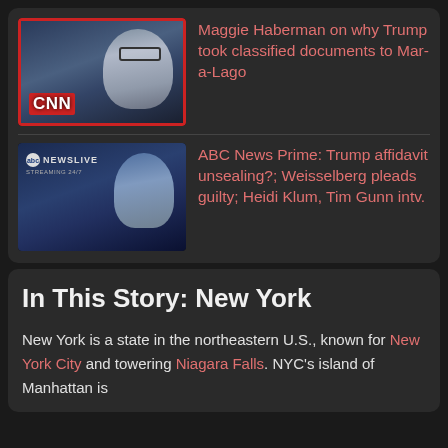[Figure (screenshot): CNN news thumbnail showing a woman with glasses in a TV studio with CNN logo]
Maggie Haberman on why Trump took classified documents to Mar-a-Lago
[Figure (screenshot): ABC News Live streaming thumbnail showing a female news anchor at desk]
ABC News Prime: Trump affidavit unsealing?; Weisselberg pleads guilty; Heidi Klum, Tim Gunn intv.
In This Story: New York
New York is a state in the northeastern U.S., known for New York City and towering Niagara Falls. NYC's island of Manhattan is